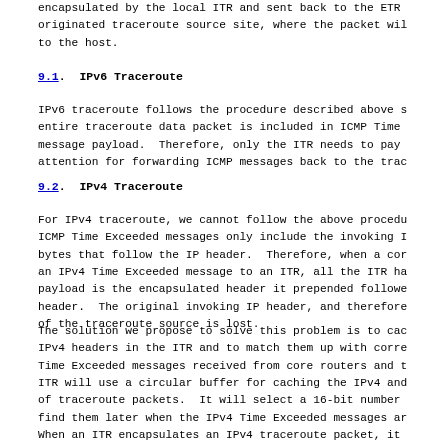encapsulated by the local ITR and sent back to the ETR originated traceroute source site, where the packet will to the host.
9.1.  IPv6 Traceroute
IPv6 traceroute follows the procedure described above s entire traceroute data packet is included in ICMP Time message payload.  Therefore, only the ITR needs to pay attention for forwarding ICMP messages back to the trac
9.2.  IPv4 Traceroute
For IPv4 traceroute, we cannot follow the above procedu ICMP Time Exceeded messages only include the invoking I bytes that follow the IP header.  Therefore, when a cor an IPv4 Time Exceeded message to an ITR, all the ITR ha payload is the encapsulated header it prepended followe header.  The original invoking IP header, and therefore of the traceroute source is lost.
The solution we propose to solve this problem is to cac IPv4 headers in the ITR and to match them up with corre Time Exceeded messages received from core routers and t ITR will use a circular buffer for caching the IPv4 and of traceroute packets.  It will select a 16-bit number find them later when the IPv4 Time Exceeded messages ar When an ITR encapsulates an IPv4 traceroute packet, it 16-bit number as the UDP source port in the encapsulati